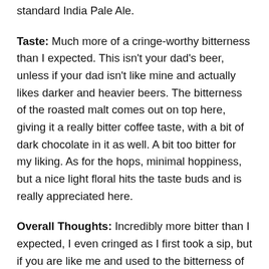standard India Pale Ale.
Taste: Much more of a cringe-worthy bitterness than I expected. This isn't your dad's beer, unless if your dad isn't like mine and actually likes darker and heavier beers. The bitterness of the roasted malt comes out on top here, giving it a really bitter coffee taste, with a bit of dark chocolate in it as well. A bit too bitter for my liking. As for the hops, minimal hoppiness, but a nice light floral hits the taste buds and is really appreciated here.
Overall Thoughts: Incredibly more bitter than I expected, I even cringed as I first took a sip, but if you are like me and used to the bitterness of some porters, you will not mind this Black IPA, it's crazy how different an IPA and a B-IPA can be. Dark, roasty, lightly hopped and packed with rich flavour, if you like a good Black IPA, this will be a treat for you, as long as you can handle the bitterness. Cost around $6.50 for a